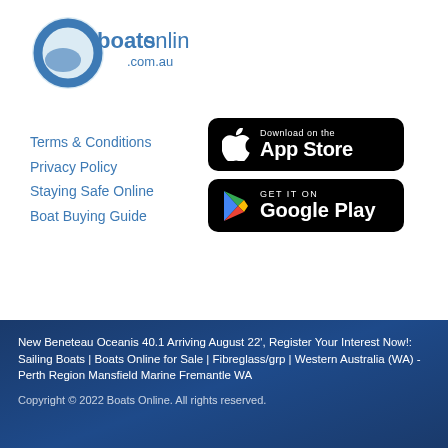[Figure (logo): Boats Online .com.au logo with blue circle graphic]
Terms & Conditions
Privacy Policy
Staying Safe Online
Boat Buying Guide
[Figure (other): Download on the App Store button (black, Apple logo)]
[Figure (other): Get it on Google Play button (black, Google Play logo)]
New Beneteau Oceanis 40.1 Arriving August 22', Register Your Interest Now!: Sailing Boats | Boats Online for Sale | Fibreglass/grp | Western Australia (WA) - Perth Region Mansfield Marine Fremantle WA
Copyright © 2022 Boats Online. All rights reserved.